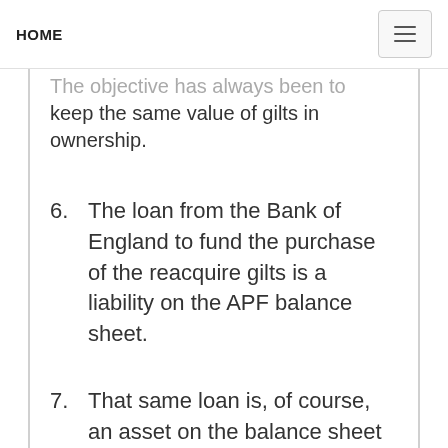HOME
The objective has always been to keep the same value of gilts in ownership.
6. The loan from the Bank of England to fund the purchase of the reacquire gilts is a liability on the APF balance sheet.
7. That same loan is, of course, an asset on the balance sheet of the Bank of England, and the two